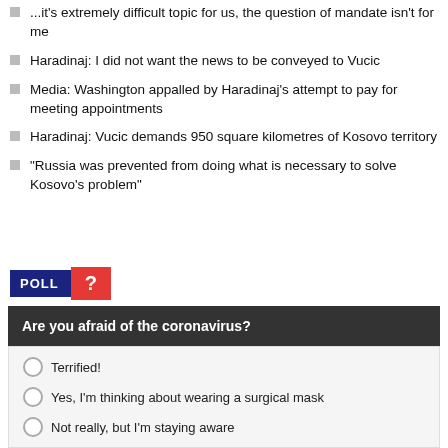...it's extremely difficult topic for us, the question of mandate isn't for me
Haradinaj: I did not want the news to be conveyed to Vucic
Media: Washington appalled by Haradinaj's attempt to pay for meeting appointments
Haradinaj: Vucic demands 950 square kilometres of Kosovo territory
"Russia was prevented from doing what is necessary to solve Kosovo's problem"
[Figure (infographic): POLL badge with blue label 'POLL' and red box with white question mark]
Are you afraid of the coronavirus?
Terrified!
Yes, I'm thinking about wearing a surgical mask
Not really, but I'm staying aware